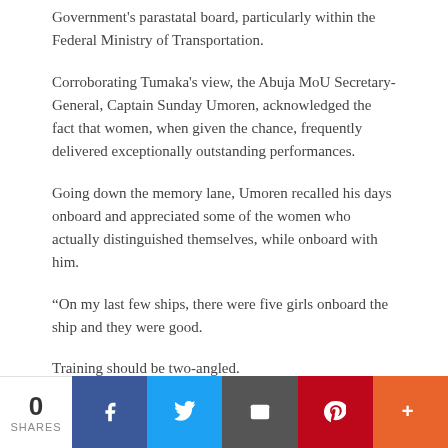Government's parastatal board, particularly within the Federal Ministry of Transportation.
Corroborating Tumaka's view, the Abuja MoU Secretary-General, Captain Sunday Umoren, acknowledged the fact that women, when given the chance, frequently delivered exceptionally outstanding performances.
Going down the memory lane, Umoren recalled his days onboard and appreciated some of the women who actually distinguished themselves, while onboard with him.
“On my last few ships, there were five girls onboard the ship and they were good.
Training should be two-angled.
Men should accept the fact that women come into the
0 SHARES | Facebook | Twitter | Email | Pinterest | More